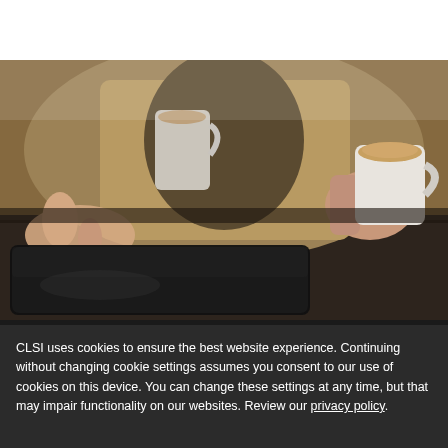[Figure (photo): A person sitting at a table, using a tablet device with one hand while holding a white coffee cup with the other hand. The person is wearing a burlap/linen-textured jacket. A white coffee cup is visible in the background. The setting appears to be a cafe with a dark table surface.]
CLSI uses cookies to ensure the best website experience. Continuing without changing cookie settings assumes you consent to our use of cookies on this device. You can change these settings at any time, but that may impair functionality on our websites. Review our privacy policy.